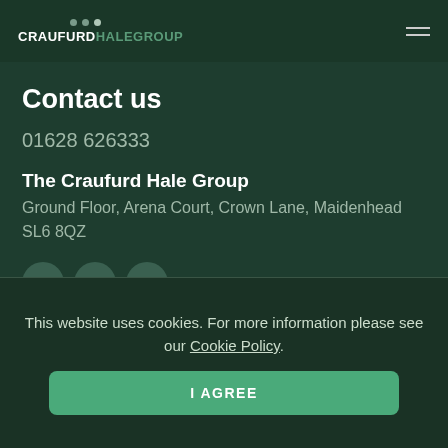CRAUFURDHALEGROUP
Contact us
01628 626333
The Craufurd Hale Group
Ground Floor, Arena Court, Crown Lane, Maidenhead SL6 8QZ
[Figure (other): Social media icons: Facebook, Twitter, LinkedIn]
This website uses cookies. For more information please see our Cookie Policy.
I AGREE